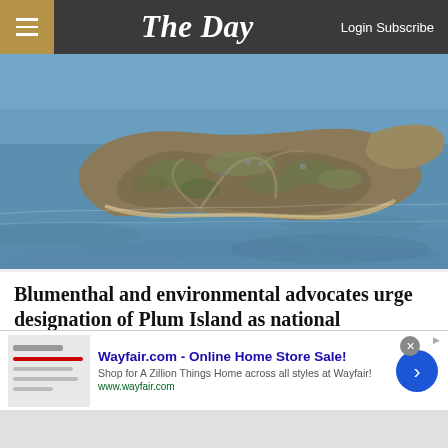The Day — Login Subscribe
[Figure (photo): Aerial photograph of Plum Island, a landmass surrounded by blue ocean water, viewed from above showing terrain, roads, and shoreline.]
Blumenthal and environmental advocates urge designation of Plum Island as national monument
Old Saybrook — Sen. Richard Blumenthal, D-Conn. along with environmental
[Figure (other): Wayfair.com advertisement banner: 'Wayfair.com - Online Home Store Sale! Shop for A Zillion Things Home across all styles at Wayfair! www.wayfair.com']